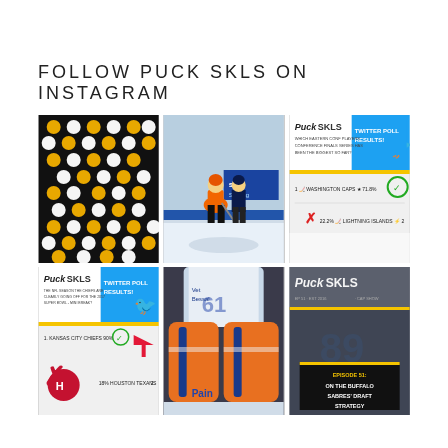FOLLOW PUCK SKLS ON INSTAGRAM
[Figure (photo): Yellow and white ping pong balls arranged in a pattern on a black background]
[Figure (photo): Hockey players on ice, one in orange/black uniform skating with puck]
[Figure (infographic): Puck SKLS Twitter Poll Results graphic with blue header and poll results]
[Figure (infographic): Puck SKLS Twitter Poll Results - NFL poll: Kansas City Chiefs vs Houston Texans]
[Figure (photo): Close-up of hockey goalie pads with 'Pain' text visible]
[Figure (infographic): Puck SKLS Episode 51: On The Buffalo Sabres' Draft Strategy podcast graphic]